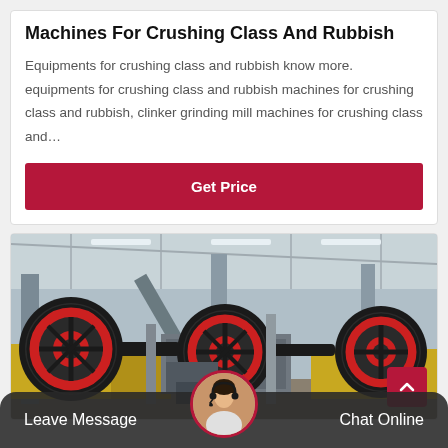Machines For Crushing Class And Rubbish
Equipments for crushing class and rubbish know more. equipments for crushing class and rubbish machines for crushing class and rubbish, clinker grinding mill machines for crushing class and…
Get Price
[Figure (photo): Industrial crushing machine with large red-rimmed flywheels in a factory setting]
Leave Message
Chat Online